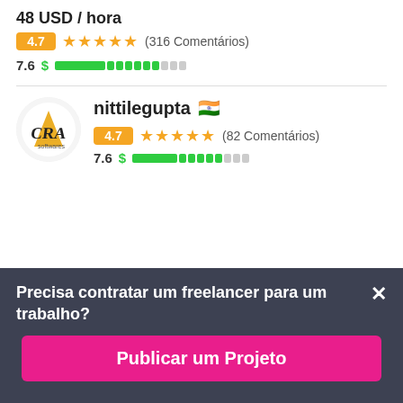48 USD / hora
4.7 ★★★★★ (316 Comentários)
7.6 $ ██████████
nittilegupta 🇮🇳
4.7 ★★★★★ (82 Comentários)
7.6 $ ██████████
Precisa contratar um freelancer para um trabalho?
Publicar um Projeto